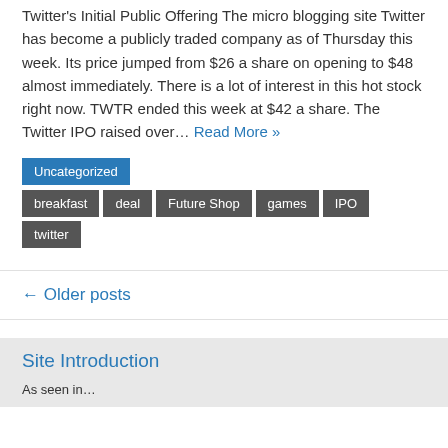Twitter's Initial Public Offering The micro blogging site Twitter has become a publicly traded company as of Thursday this week. Its price jumped from $26 a share on opening to $48 almost immediately. There is a lot of interest in this hot stock right now. TWTR ended this week at $42 a share. The Twitter IPO raised over… Read More »
Uncategorized
breakfast
deal
Future Shop
games
IPO
twitter
← Older posts
Site Introduction
As seen in…